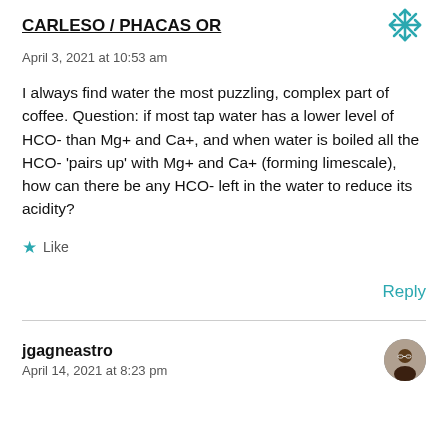CARLESO / PHACAS OR
April 3, 2021 at 10:53 am
I always find water the most puzzling, complex part of coffee. Question: if most tap water has a lower level of HCO- than Mg+ and Ca+, and when water is boiled all the HCO- 'pairs up' with Mg+ and Ca+ (forming limescale), how can there be any HCO- left in the water to reduce its acidity?
Like
Reply
jgagneastro
April 14, 2021 at 8:23 pm